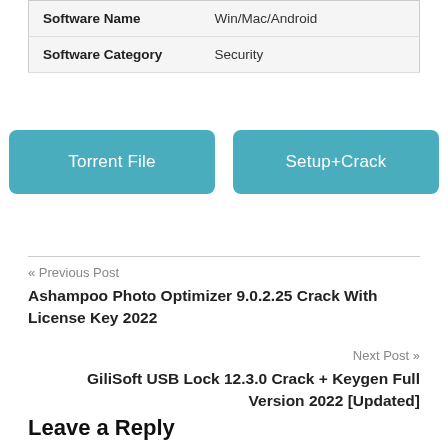| Software Name | Win/Mac/Android |
| Software Category | Security |
[Figure (other): Two teal/blue buttons labeled 'Torrent File' and 'Setup+Crack']
« Previous Post
Ashampoo Photo Optimizer 9.0.2.25 Crack With License Key 2022
Next Post »
GiliSoft USB Lock 12.3.0 Crack + Keygen Full Version 2022 [Updated]
Leave a Reply